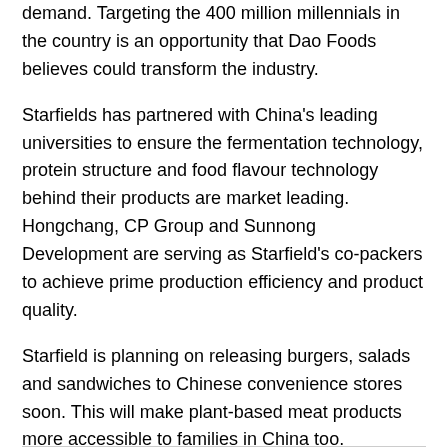demand. Targeting the 400 million millennials in the country is an opportunity that Dao Foods believes could transform the industry.
Starfields has partnered with China's leading universities to ensure the fermentation technology, protein structure and food flavour technology behind their products are market leading. Hongchang, CP Group and Sunnong Development are serving as Starfield's co-packers to achieve prime production efficiency and product quality.
Starfield is planning on releasing burgers, salads and sandwiches to Chinese convenience stores soon. This will make plant-based meat products more accessible to families in China too.